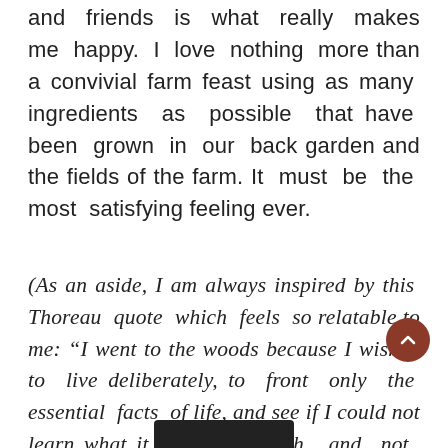and friends is what really makes me happy. I love nothing more than a convivial farm feast using as many ingredients as possible that have been grown in our back garden and the fields of the farm. It must be the most satisfying feeling ever.
(As an aside, I am always inspired by this Thoreau quote which feels so relatable to me: “I went to the woods because I wished to live deliberately, to front only the essential facts of life, and see if I could not learn what it had to teach, and not, when I came to die, [that I had not